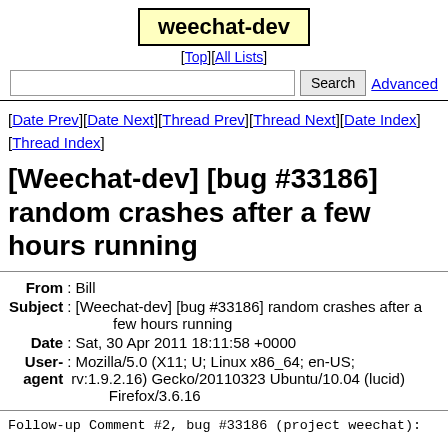weechat-dev
[Top][All Lists]
Search  Advanced
[Date Prev][Date Next][Thread Prev][Thread Next][Date Index][Thread Index]
[Weechat-dev] [bug #33186] random crashes after a few hours running
| Field | Value |
| --- | --- |
| From | Bill |
| Subject | [Weechat-dev] [bug #33186] random crashes after a few hours running |
| Date | Sat, 30 Apr 2011 18:11:58 +0000 |
| User-agent | Mozilla/5.0 (X11; U; Linux x86_64; en-US; rv:1.9.2.16) Gecko/20110323 Ubuntu/10.04 (lucid) Firefox/3.6.16 |
Follow-up Comment #2, bug #33186 (project weechat):

yeah, sorry. I tried gdb before, but as I didn't have dbg